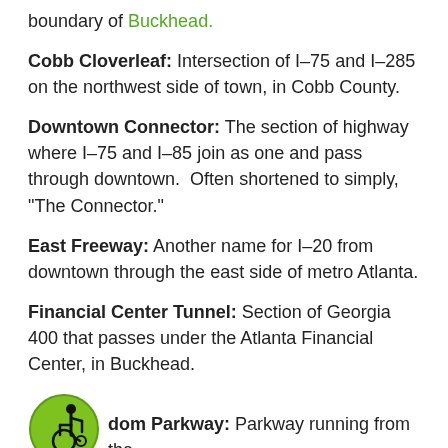boundary of Buckhead.
Cobb Cloverleaf: Intersection of I–75 and I–285 on the northwest side of town, in Cobb County.
Downtown Connector: The section of highway where I–75 and I–85 join as one and pass through downtown.  Often shortened to simply, "The Connector."
East Freeway: Another name for I–20 from downtown through the east side of metro Atlanta.
Financial Center Tunnel: Section of Georgia 400 that passes under the Atlanta Financial Center, in Buckhead.
[Figure (illustration): Green circle wheelchair accessibility icon]
dom Parkway: Parkway running from the Downtown Connector to Peachtree-Leon A...